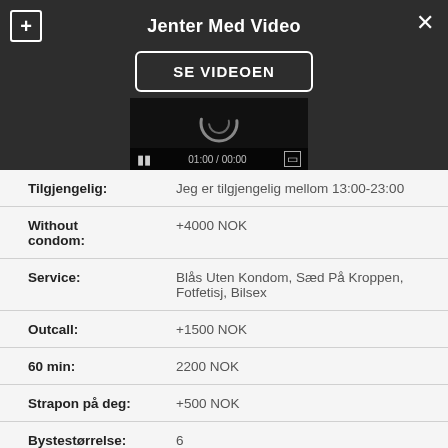Jenter Med Video
SE VIDEOEN
[Figure (screenshot): Video player showing a loading spinner and playback controls with timestamp 01:00 / 00:00]
| Tilgjengelig: | Jeg er tilgjengelig mellom 13:00-23:00 |
| Without condom: | +4000 NOK |
| Service: | Blås Uten Kondom, Sæd På Kroppen, Fotfetisj, Bilsex |
| Outcall: | +1500 NOK |
| 60 min: | 2200 NOK |
| Strapon på deg: | +500 NOK |
| Bystestørrelse: | 6 |
Kontakt